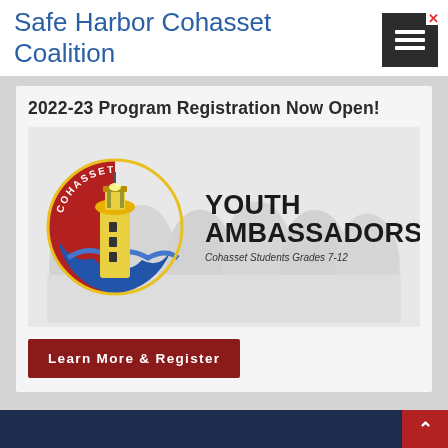Safe Harbor Cohasset Coalition
[Figure (illustration): 2022-23 Program Registration Now Open! Cohasset Youth Ambassadors logo featuring a lighthouse on a red and blue circle with 'COHASSET' text, and subtitle 'Cohasset Students Grades 7-12', with blurred background photo of youths with arms around each other.]
Learn More & Register